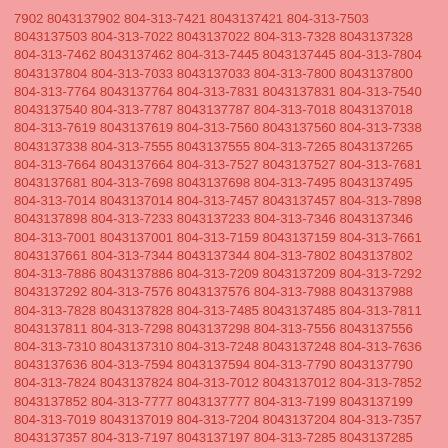7902 8043137902 804-313-7421 8043137421 804-313-7503 8043137503 804-313-7022 8043137022 804-313-7328 8043137328 804-313-7462 8043137462 804-313-7445 8043137445 804-313-7804 8043137804 804-313-7033 8043137033 804-313-7800 8043137800 804-313-7764 8043137764 804-313-7831 8043137831 804-313-7540 8043137540 804-313-7787 8043137787 804-313-7018 8043137018 804-313-7619 8043137619 804-313-7560 8043137560 804-313-7338 8043137338 804-313-7555 8043137555 804-313-7265 8043137265 804-313-7664 8043137664 804-313-7527 8043137527 804-313-7681 8043137681 804-313-7698 8043137698 804-313-7495 8043137495 804-313-7014 8043137014 804-313-7457 8043137457 804-313-7898 8043137898 804-313-7233 8043137233 804-313-7346 8043137346 804-313-7001 8043137001 804-313-7159 8043137159 804-313-7661 8043137661 804-313-7344 8043137344 804-313-7802 8043137802 804-313-7886 8043137886 804-313-7209 8043137209 804-313-7292 8043137292 804-313-7576 8043137576 804-313-7988 8043137988 804-313-7828 8043137828 804-313-7485 8043137485 804-313-7811 8043137811 804-313-7298 8043137298 804-313-7556 8043137556 804-313-7310 8043137310 804-313-7248 8043137248 804-313-7636 8043137636 804-313-7594 8043137594 804-313-7790 8043137790 804-313-7824 8043137824 804-313-7012 8043137012 804-313-7852 8043137852 804-313-7777 8043137777 804-313-7199 8043137199 804-313-7019 8043137019 804-313-7204 8043137204 804-313-7357 8043137357 804-313-7197 8043137197 804-313-7285 8043137285 804-313-7617 8043137617